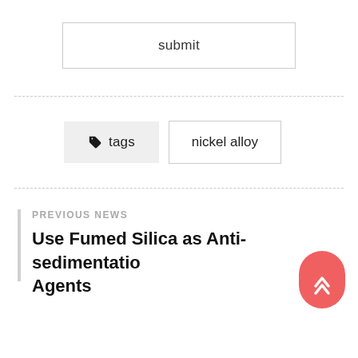submit
tags   nickel alloy
PREVIOUS NEWS
Use Fumed Silica as Anti-sedimentation Agents